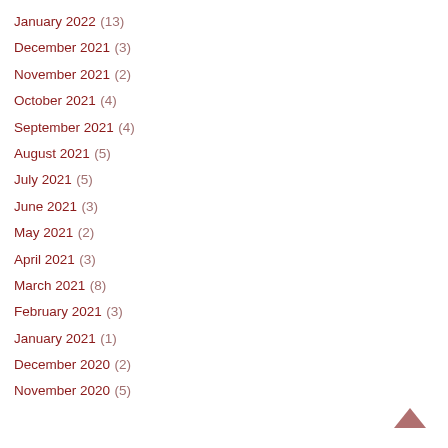January 2022 (13)
December 2021 (3)
November 2021 (2)
October 2021 (4)
September 2021 (4)
August 2021 (5)
July 2021 (5)
June 2021 (3)
May 2021 (2)
April 2021 (3)
March 2021 (8)
February 2021 (3)
January 2021 (1)
December 2020 (2)
November 2020 (5)